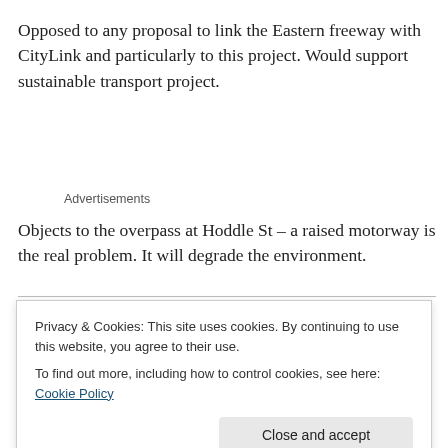Opposed to any proposal to link the Eastern freeway with CityLink and particularly to this project. Would support sustainable transport project.
Advertisements
Objects to the overpass at Hoddle St – a raised motorway is the real problem. It will degrade the environment.
It is a very poor design for the Eastern link…
Privacy & Cookies: This site uses cookies. By continuing to use this website, you agree to their use.
To find out more, including how to control cookies, see here: Cookie Policy
Close and accept
very poor design. Pedestrians heading north on Hoddle St